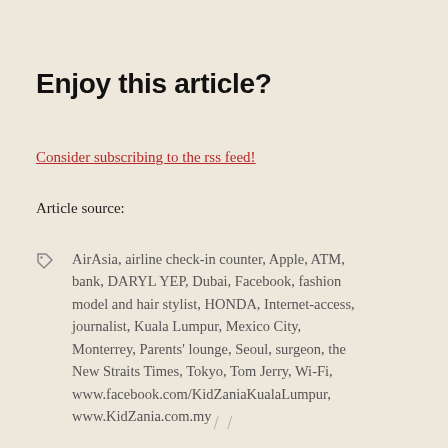Enjoy this article?
Consider subscribing to the rss feed!
Article source:
AirAsia, airline check-in counter, Apple, ATM, bank, DARYL YEP, Dubai, Facebook, fashion model and hair stylist, HONDA, Internet-access, journalist, Kuala Lumpur, Mexico City, Monterrey, Parents' lounge, Seoul, surgeon, the New Straits Times, Tokyo, Tom Jerry, Wi-Fi, www.facebook.com/KidZaniaKualaLumpur, www.KidZania.com.my